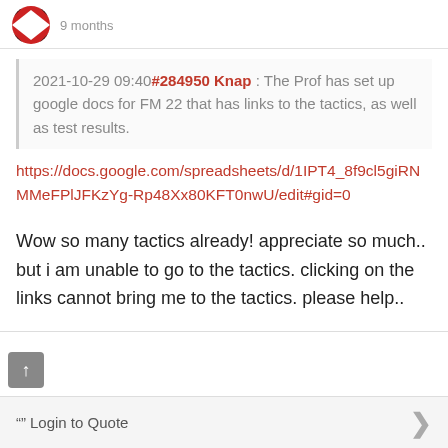9 months
2021-10-29 09:40 #284950 Knap : The Prof has set up google docs for FM 22 that has links to the tactics, as well as test results.
https://docs.google.com/spreadsheets/d/1IPT4_8f9cl5giRNMMeFPlJFKzYg-Rp48Xx80KFT0nwU/edit#gid=0
Wow so many tactics already! appreciate so much.. but i am unable to go to the tactics. clicking on the links cannot bring me to the tactics. please help..
Login to Quote